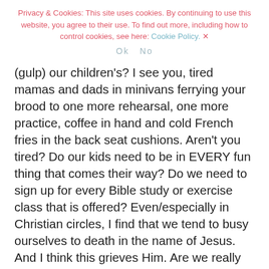Privacy & Cookies: This site uses cookies. By continuing to use this website, you agree to their use. To find out more, including how to control cookies, see here: Cookie Policy.
Ok   No
(gulp) our children's? I see you, tired mamas and dads in minivans ferrying your brood to one more rehearsal, one more practice, coffee in hand and cold French fries in the back seat cushions. Aren't you tired? Do our kids need to be in EVERY fun thing that comes their way? Do we need to sign up for every Bible study or exercise class that is offered? Even/especially in Christian circles, I find that we tend to busy ourselves to death in the name of Jesus. And I think this grieves Him. Are we really more faith and hope filled and closer to Jesus when we arrive home exhausted from that umpteenth church activity/serving opportunity/potluck?